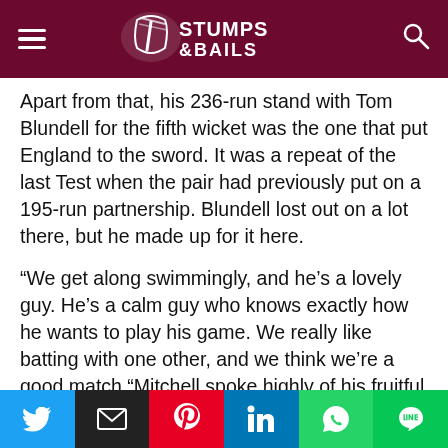Stumps & Bails
Apart from that, his 236-run stand with Tom Blundell for the fifth wicket was the one that put England to the sword. It was a repeat of the last Test when the pair had previously put on a 195-run partnership. Blundell lost out on a lot there, but he made up for it here.
“We get along swimmingly, and he’s a lovely guy. He’s a calm guy who knows exactly how he wants to play his game. We really like batting with one other, and we think we’re a good match “Mitchell spoke highly of his fruitful collaboration with Blundell.
England was strong on 90/1 towards the end of the day in response to New Zealand, but both the unbeaten batters – Alex Lees and Ollie Pope – had a touch of luck with Mitchell